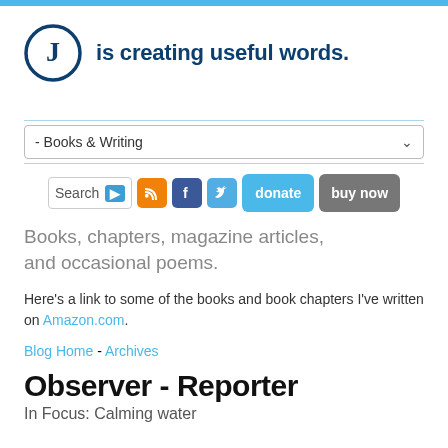[Figure (logo): Letter J inside a dark blue circle logo with tagline 'is creating useful words.']
[Figure (screenshot): Navigation dropdown showing '- Books & Writing' with search bar, RSS, Facebook, Twitter icons, donate and buy now buttons]
Books, chapters, magazine articles, and occasional poems.
Here's a link to some of the books and book chapters I've written on Amazon.com.
Blog Home - Archives
Observer - Reporter
In Focus: Calming water